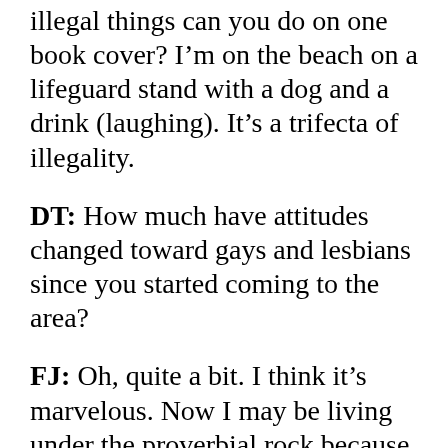illegal things can you do on one book cover? I'm on the beach on a lifeguard stand with a dog and a drink (laughing). It's a trifecta of illegality.
DT: How much have attitudes changed toward gays and lesbians since you started coming to the area?
FJ: Oh, quite a bit. I think it's marvelous. Now I may be living under the proverbial rock because I'm living in Rehoboth Beach, and I